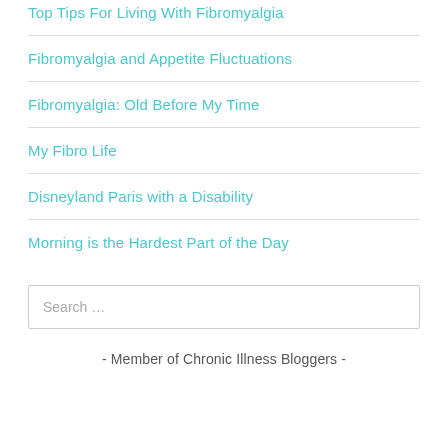Top Tips For Living With Fibromyalgia
Fibromyalgia and Appetite Fluctuations
Fibromyalgia: Old Before My Time
My Fibro Life
Disneyland Paris with a Disability
Morning is the Hardest Part of the Day
Search …
- Member of Chronic Illness Bloggers -